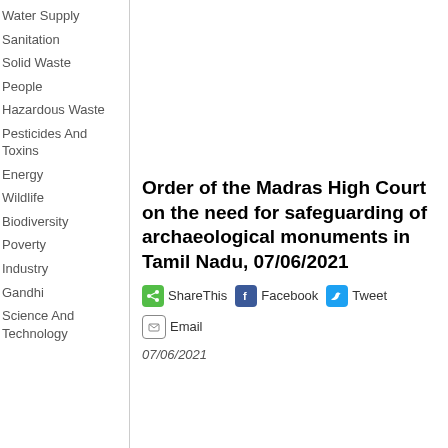Water Supply
Sanitation
Solid Waste
People
Hazardous Waste
Pesticides And Toxins
Energy
Wildlife
Biodiversity
Poverty
Industry
Gandhi
Science And Technology
Order of the Madras High Court on the need for safeguarding of archaeological monuments in Tamil Nadu, 07/06/2021
ShareThis Facebook Tweet Email
07/06/2021